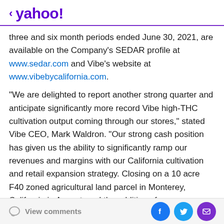< yahoo!
three and six month periods ended June 30, 2021, are available on the Company's SEDAR profile at www.sedar.com and Vibe's website at www.vibebycalifornia.com.
"We are delighted to report another strong quarter and anticipate significantly more record Vibe high-THC cultivation output coming through our stores," stated Vibe CEO, Mark Waldron. "Our strong cash position has given us the ability to significantly ramp our revenues and margins with our California cultivation and retail expansion strategy. Closing on a 10 acre F40 zoned agricultural land parcel in Monterey, California in August, and the addition of our Sacramento indoor cultivation
View comments